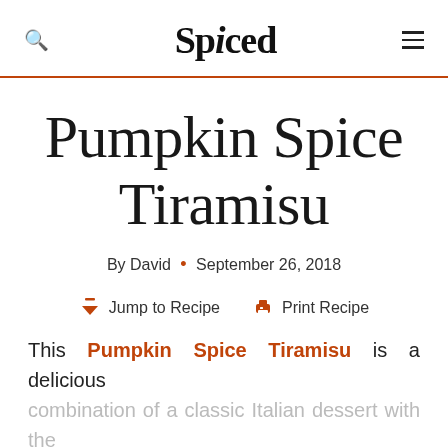Spiced
Pumpkin Spice Tiramisu
By David • September 26, 2018
Jump to Recipe   Print Recipe
This Pumpkin Spice Tiramisu is a delicious combination of a classic Italian dessert with the